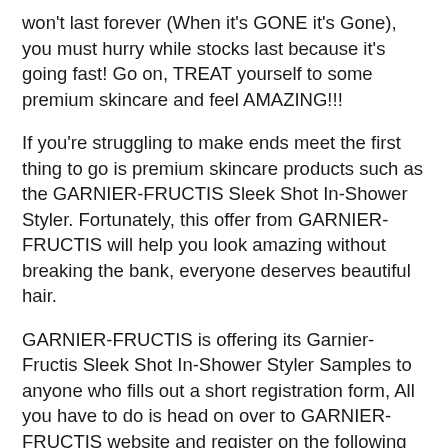won't last forever (When it's GONE it's Gone), you must hurry while stocks last because it's going fast! Go on, TREAT yourself to some premium skincare and feel AMAZING!!!
If you're struggling to make ends meet the first thing to go is premium skincare products such as the GARNIER-FRUCTIS Sleek Shot In-Shower Styler. Fortunately, this offer from GARNIER-FRUCTIS will help you look amazing without breaking the bank, everyone deserves beautiful hair.
GARNIER-FRUCTIS is offering its Garnier-Fructis Sleek Shot In-Shower Styler Samples to anyone who fills out a short registration form, All you have to do is head on over to GARNIER-FRUCTIS website and register on the following LINK.
This is a very popular offer and won't last forever. This offer is based on a first come first served basis